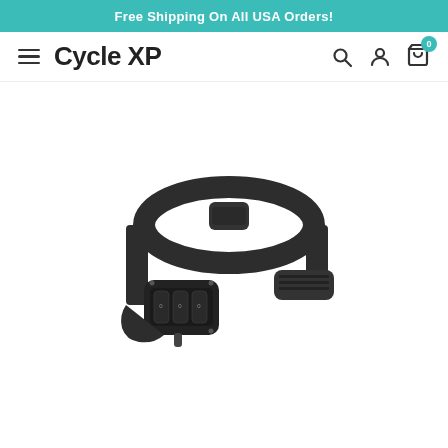Free Shipping On All USA Orders!
Cycle XP
[Figure (photo): Black combination lock bicycle strap lock, wristband style, with dial combination mechanism, viewed from slight angle showing the strap and combination dials]